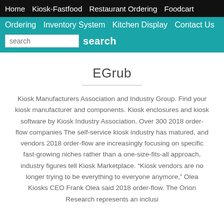Home  Kiosk-Fastfood  Restaurant Ordering  Foodcart Ordering  Inventory System  Kitchen Display  Contact Us
EGrub
Kiosk Manufacturers Association and Industry Group. Find your kiosk manufacturer and components. Kiosk enclosures and kiosk software by Kiosk Industry Association. Over 300 2018 order-flow companies The self-service kiosk industry has matured, and vendors 2018 order-flow are increasingly focusing on specific fast-growing niches rather than a one-size-fits-all approach, industry figures tell Kiosk Marketplace. “Kiosk vendors are no longer trying to be everything to everyone anymore,” Olea Kiosks CEO Frank Olea said 2018 order-flow. The Orion Research represents an inclusi...